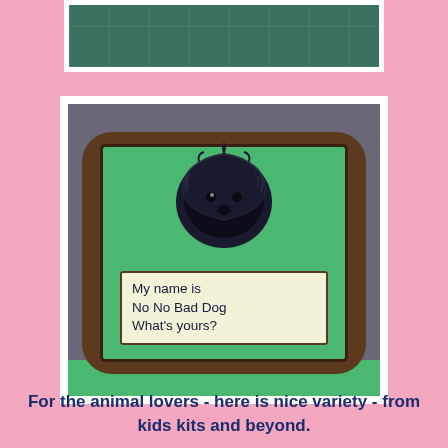[Figure (photo): Top portion of a photo showing green tile floor, partially cropped]
[Figure (photo): A brown pillow with a green needlepoint insert featuring a shaggy black dog and a sign reading 'My name is No No Bad Dog What's yours?' sitting on green tile floor against gray wall]
For the animal lovers - here is nice variety - from kids kits and beyond.